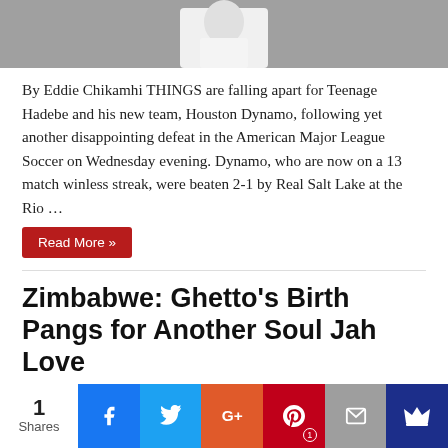[Figure (photo): Partial photo of a person in white clothing, top portion visible]
By Eddie Chikamhi THINGS are falling apart for Teenage Hadebe and his new team, Houston Dynamo, following yet another disappointing defeat in the American Major League Soccer on Wednesday evening. Dynamo, who are now on a 13 match winless streak, were beaten 2-1 by Real Salt Lake at the Rio …
Read More »
Zimbabwe: Ghetto's Birth Pangs for Another Soul Jah Love
August 19, 2021   Comments Off
[Figure (photo): Photo of a man with dreadlocks holding a microphone, with two other people visible beside him]
1 Shares